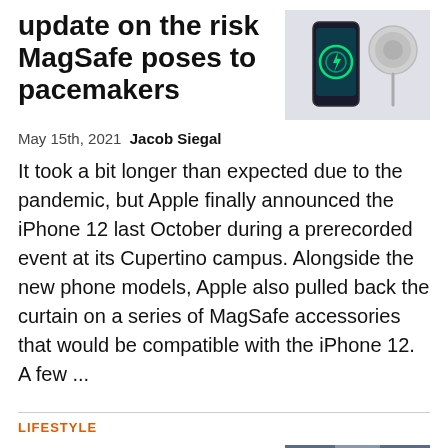update on the risk MagSafe poses to pacemakers
[Figure (photo): MagSafe charger and accessories on dark background]
May 15th, 2021 Jacob Siegal
It took a bit longer than expected due to the pandemic, but Apple finally announced the iPhone 12 last October during a prerecorded event at its Cupertino campus. Alongside the new phone models, Apple also pulled back the curtain on a series of MagSafe accessories that would be compatible with the iPhone 12. A few ...
LIFESTYLE
If you have this protein powder, stop using it now
[Figure (photo): Store aisle with shelves of products]